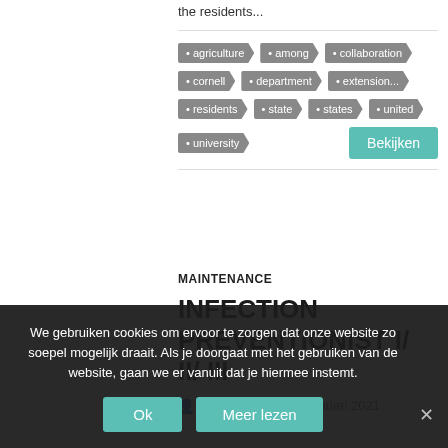the residents...
agriculture
among
collaboration
cornell
department
extension...
residents
state
states
united
university
MAINTENANCE
INFECTION PREVENTIONIST I/ II/ III
vacatures   13 januari 2021
We gebruiken cookies om ervoor te zorgen dat onze website zo soepel mogelijk draait. Als je doorgaat met het gebruiken van de website, gaan we er vanuit dat je hiermee instemt.